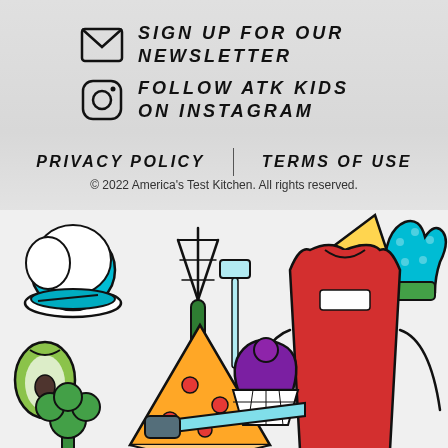SIGN UP FOR OUR NEWSLETTER
FOLLOW ATK KIDS ON INSTAGRAM
PRIVACY POLICY    |    TERMS OF USE
© 2022 America's Test Kitchen. All rights reserved.
[Figure (illustration): Colorful cartoon cooking illustrations including a chef hat, whisk, cheese wedge, oven mitt, avocado, pizza slice, cupcake, broccoli, kitchen knife, spatula, and red apron scattered across the bottom half of the page.]